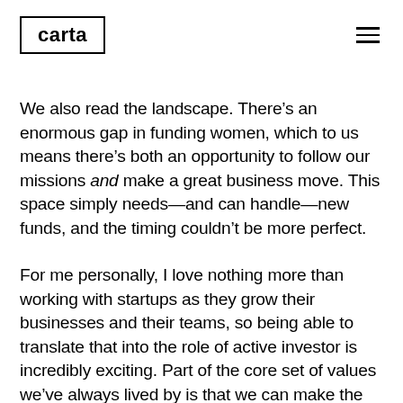carta
We also read the landscape. There’s an enormous gap in funding women, which to us means there’s both an opportunity to follow our missions and make a great business move. This space simply needs—and can handle—new funds, and the timing couldn’t be more perfect.
For me personally, I love nothing more than working with startups as they grow their businesses and their teams, so being able to translate that into the role of active investor is incredibly exciting. Part of the core set of values we’ve always lived by is that we can make the biggest impact on the future of innovation